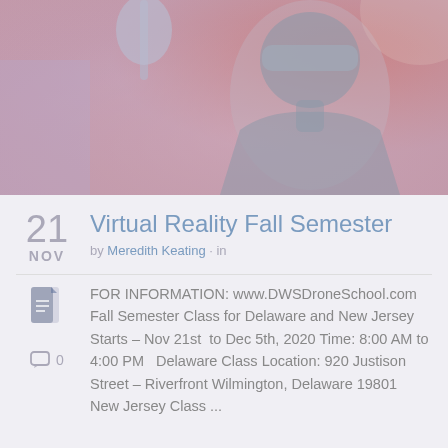[Figure (photo): Person wearing VR headset with microphone, lit with blue and red dramatic lighting]
Virtual Reality Fall Semester
by Meredith Keating · in
FOR INFORMATION: www.DWSDroneSchool.com Fall Semester Class for Delaware and New Jersey Starts – Nov 21st to Dec 5th, 2020 Time: 8:00 AM to 4:00 PM  Delaware Class Location: 920 Justison Street – Riverfront Wilmington, Delaware 19801 New Jersey Class ...